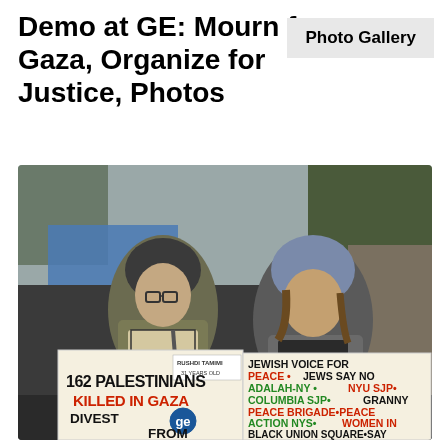Demo at GE: Mourn for Gaza, Organize for Justice, Photos
Photo Gallery
[Figure (photo): Two women standing outdoors in winter clothing holding protest signs at what appears to be Rockefeller Center. Left sign reads '162 PALESTINIANS KILLED IN GAZA DIVEST FROM GE' with the GE logo. Right sign reads 'JEWISH VOICE FOR PEACE • JEWS SAY NO ADALAH-NY • NYU SJP • COLUMBIA SJP • GRANNY PEACE BRIGADE • PEACE ACTION NYS • WOMEN IN BLACK UNION SQUARE • SAY DIVEST FROM GE!' A small sticker on the left person's bag reads 'RUSHDI TAMIMI 31 YEARS OLD'. Blue tarps and trees visible in background, a Rockefeller Center sign partially visible.]